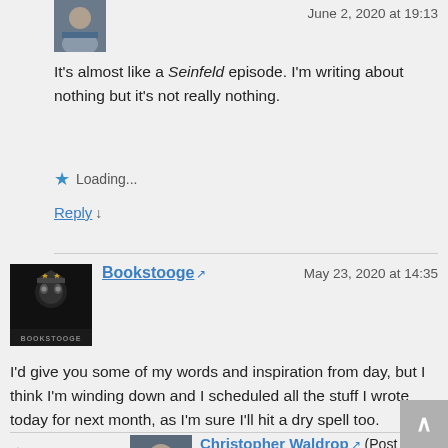[Figure (photo): Avatar photo of Christopher Waldrop (small square headshot of a man)]
Christopher Waldrop (Post author)
June 2, 2020 at 19:13
It's almost like a Seinfeld episode. I'm writing about nothing but it's not really nothing.
Loading...
Reply ↓
[Figure (photo): Avatar photo of Bookstooge (dark stylized image with text 'BOOKSTOOGE' at bottom)]
Bookstooge (external link icon)
May 23, 2020 at 14:35
I'd give you some of my words and inspiration from day, but I think I'm winding down and I scheduled all the stuff I wrote today for next month, as I'm sure I'll hit a dry spell too.
Loading...
Reply ↓
[Figure (photo): Avatar photo of Christopher Waldrop (small square headshot)]
Christopher Waldrop (Post author)
June 2, 2020 at 19:19
I know some authors claim to have completely